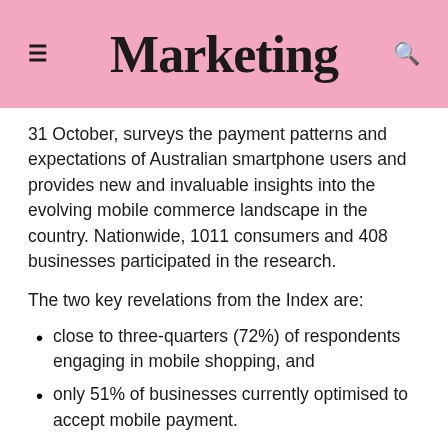Marketing
31 October, surveys the payment patterns and expectations of Australian smartphone users and provides new and invaluable insights into the evolving mobile commerce landscape in the country. Nationwide, 1011 consumers and 408 businesses participated in the research.
The two key revelations from the Index are:
close to three-quarters (72%) of respondents engaging in mobile shopping, and
only 51% of businesses currently optimised to accept mobile payment.